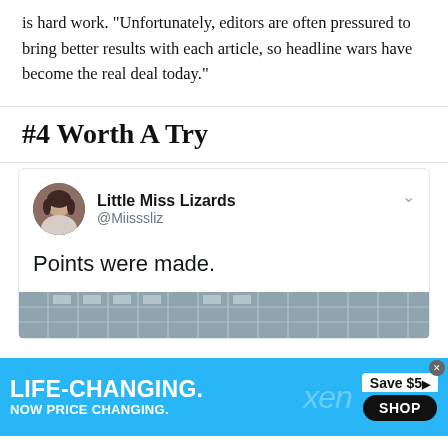is hard work. “Unfortunately, editors are often pressured to bring better results with each article, so headline wars have become the real deal today.”
#4 Worth A Try
[Figure (screenshot): Tweet from Little Miss Lizards (@Miisssliz) with avatar photo, text saying 'Points were made.' and a partial image preview below]
[Figure (screenshot): Advertisement banner: LIFE-CHANGING. NOW PRICE CHANGING. xen Save $50 SHOP]